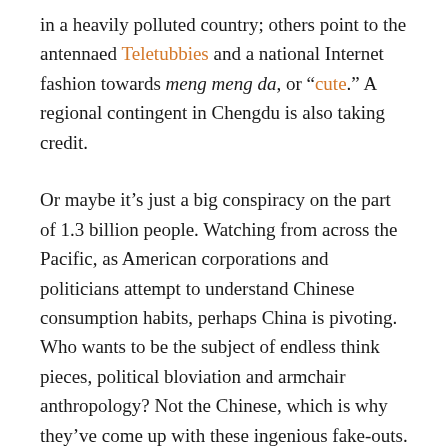in a heavily polluted country; others point to the antennaed Teletubbies and a national Internet fashion towards meng meng da, or “cute.” A regional contingent in Chengdu is also taking credit.
Or maybe it’s just a big conspiracy on the part of 1.3 billion people. Watching from across the Pacific, as American corporations and politicians attempt to understand Chinese consumption habits, perhaps China is pivoting. Who wants to be the subject of endless think pieces, political bloviation and armchair anthropology? Not the Chinese, which is why they’ve come up with these ingenious fake-outs.